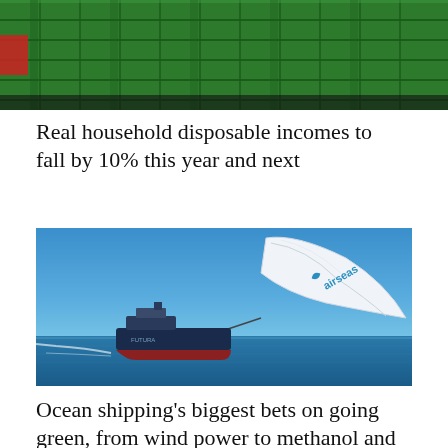[Figure (photo): Cropped top portion of a photo showing green plastic crates/trays stacked together on a dark background]
Real household disposable incomes to fall by 10% this year and next
[Figure (photo): A cargo ship on blue ocean water being pulled by a large white kite-like sail with the 'airseas' logo and brand mark on it, against a clear blue sky]
Ocean shipping’s biggest bets on going green, from wind power to methanol and liquid